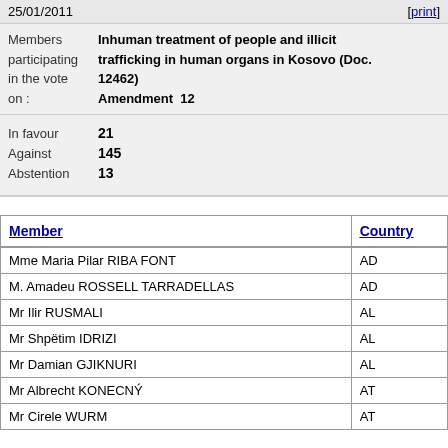25/01/2011   [print]
Members participating in the vote on : Inhuman treatment of people and illicit trafficking in human organs in Kosovo (Doc. 12462) Amendment 12
In favour 21
Against 145
Abstention 13
| Member | Country |
| --- | --- |
| Mme Maria Pilar RIBA FONT | AD |
| M. Amadeu ROSSELL TARRADELLAS | AD |
| Mr Ilir RUSMALI | AL |
| Mr Shpëtim IDRIZI | AL |
| Mr Damian GJIKNURI | AL |
| Mr Albrecht KONECNÝ | AT |
| Mr Cirele WURM | AT |